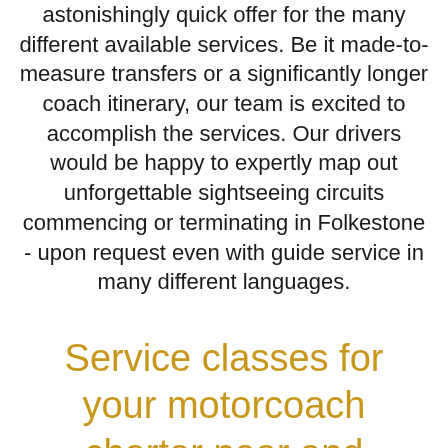astonishingly quick offer for the many different available services. Be it made-to-measure transfers or a significantly longer coach itinerary, our team is excited to accomplish the services. Our drivers would be happy to expertly map out unforgettable sightseeing circuits commencing or terminating in Folkestone - upon request even with guide service in many different languages.
Service classes for your motorcoach charter near and inside of Folkestone